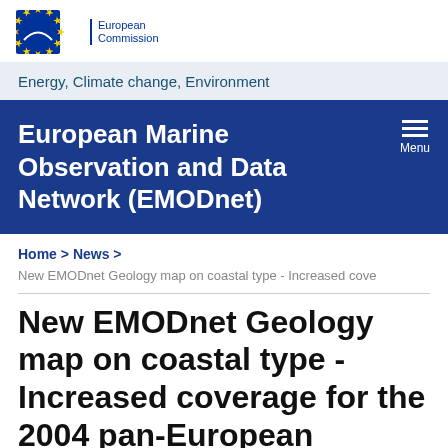[Figure (logo): European Commission logo with EU circle of stars and text 'European Commission']
Energy, Climate change, Environment
European Marine Observation and Data Network (EMODnet)
Home > News >
New EMODnet Geology map on coastal type - Increased cove
New EMODnet Geology map on coastal type - Increased coverage for the 2004 pan-European